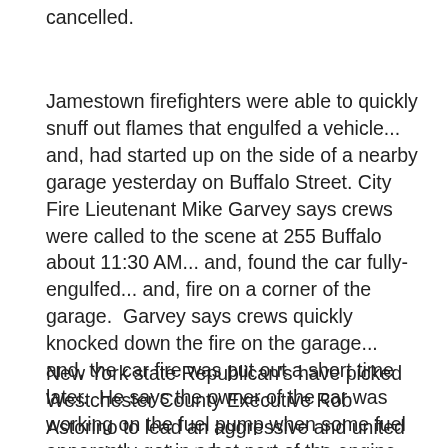cancelled.
Jamestown firefighters were able to quickly snuff out flames that engulfed a vehicle... and, had started up on the side of a nearby garage yesterday on Buffalo Street. City Fire Lieutenant Mike Garvey says crews were called to the scene at 255 Buffalo about 11:30 AM... and, found the car fully-engulfed... and, fire on a corner of the garage.  Garvey says crews quickly knocked down the fire on the garage... and, the car fire was put out a short time later.  He says the owner of the car was working on the fuel pump when some fuel apparently got in a hot part of the engine.  No one was hurt.  Firefighters were at the scene for more than an hour.
New York state Republican's have picked Westchester County Executive Rob Astorino to lead an aggressive and united campaign against Governor Andrew Cuomo...